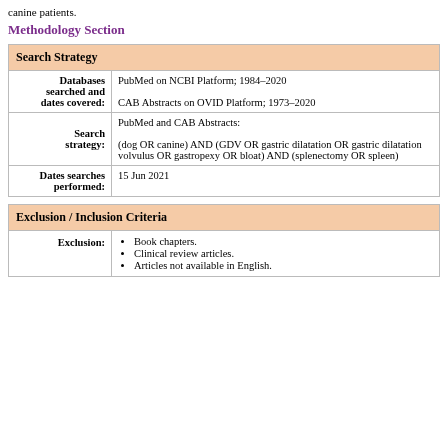canine patients.
Methodology Section
| Search Strategy |
| --- |
| Databases searched and dates covered: | PubMed on NCBI Platform; 1984–2020

CAB Abstracts on OVID Platform; 1973–2020 |
| Search strategy: | PubMed and CAB Abstracts:

(dog OR canine) AND (GDV OR gastric dilatation OR gastric dilatation volvulus OR gastropexy OR bloat) AND (splenectomy OR spleen) |
| Dates searches performed: | 15 Jun 2021 |
| Exclusion / Inclusion Criteria |
| --- |
| Exclusion: | Book chapters.
Clinical review articles.
Articles not available in English. |